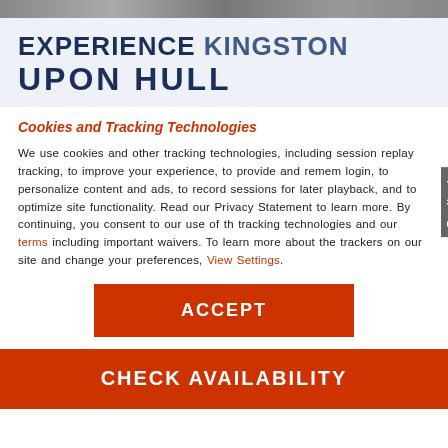[Figure (photo): Top image bar showing partial photograph]
EXPERIENCE KINGSTON UPON HULL
Cookies and Tracking Technologies
We use cookies and other tracking technologies, including session replay tracking, to improve your experience, to provide and remember login, to personalize content and ads, to record sessions for later playback, and to optimize site functionality. Read our Privacy Statement to learn more. By continuing, you consent to our use of these tracking technologies and our terms including important waivers. To learn more about the trackers on our site and change your preferences, View Settings.
[Figure (other): ACCEPT button - orange/red rectangle with white bold text]
CHECK AVAILABILITY